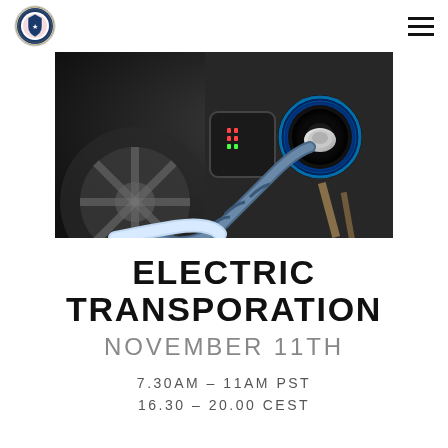[Figure (photo): Close-up photograph of an electric vehicle charging port with a white charging plug inserted, blue LED ring visible around the port, with a car wheel blurred in the background and wooden sticks in the lower right]
ELECTRIC TRANSPORATION
NOVEMBER 11TH
7.30AM - 11AM PST
16.30 - 20.00 CEST